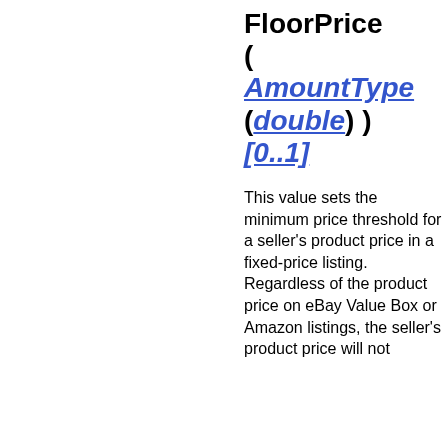FloorPrice ( AmountType (double) ) [0..1]
This value sets the minimum price threshold for a seller's product price in a fixed-price listing. Regardless of the product price on eBay Value Box or Amazon listings, the seller's product price will not